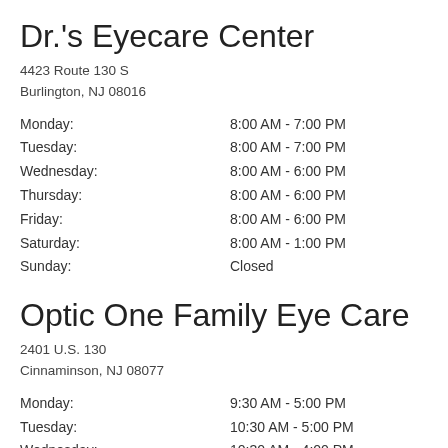Dr.'s Eyecare Center
4423 Route 130 S
Burlington, NJ 08016
Monday: 8:00 AM - 7:00 PM
Tuesday: 8:00 AM - 7:00 PM
Wednesday: 8:00 AM - 6:00 PM
Thursday: 8:00 AM - 6:00 PM
Friday: 8:00 AM - 6:00 PM
Saturday: 8:00 AM - 1:00 PM
Sunday: Closed
Optic One Family Eye Care
2401 U.S. 130
Cinnaminson, NJ 08077
Monday: 9:30 AM - 5:00 PM
Tuesday: 10:30 AM - 5:00 PM
Wednesday: 10:30 AM - 4:00 PM